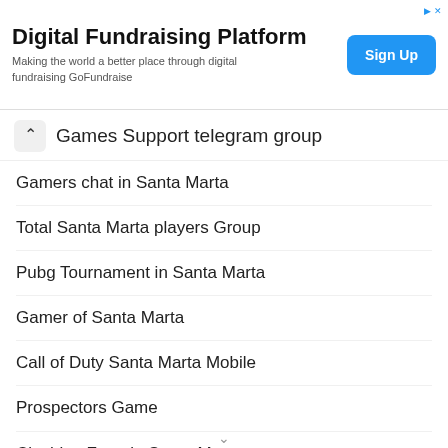[Figure (screenshot): Advertisement banner for Digital Fundraising Platform with Sign Up button]
Games Support telegram group
Gamers chat in Santa Marta
Total Santa Marta players Group
Pubg Tournament in Santa Marta
Gamer of Santa Marta
Call of Duty Santa Marta Mobile
Prospectors Game
Clashing Zone in Santa Marta
ETHIO CLASHERs of Santa Marta